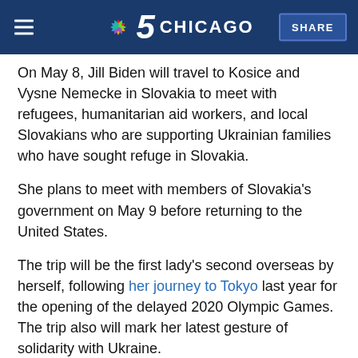NBC 5 Chicago
On May 8, Jill Biden will travel to Kosice and Vysne Nemecke in Slovakia to meet with refugees, humanitarian aid workers, and local Slovakians who are supporting Ukrainian families who have sought refuge in Slovakia.
She plans to meet with members of Slovakia's government on May 9 before returning to the United States.
The trip will be the first lady's second overseas by herself, following her journey to Tokyo last year for the opening of the delayed 2020 Olympic Games. The trip also will mark her latest gesture of solidarity with Ukraine.
Four days after Russia's Feb. 24 invasion of Ukraine, Biden appeared at a White House event wearing a face mask